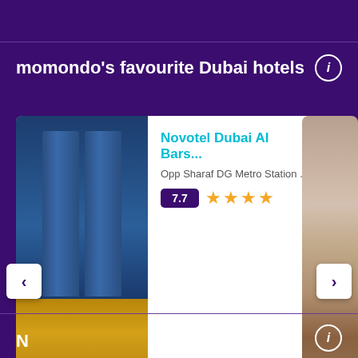momondo's favourite Dubai hotels
[Figure (screenshot): Hotel card carousel showing Novotel Dubai Al Bars... with building photo on the left, hotel name in teal, location 'Opp Sharaf DG Metro Station ...', rating badge 7.7, 4 gold stars, price ₹ 3,834. Partial hotel room image visible on the right.]
Novotel Dubai Al Bars...
Opp Sharaf DG Metro Station ...
7.7
₹ 3,834